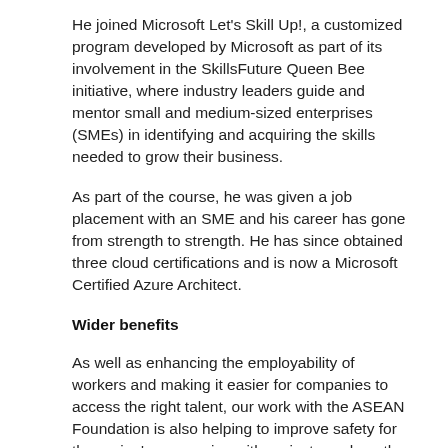He joined Microsoft Let's Skill Up!, a customized program developed by Microsoft as part of its involvement in the SkillsFuture Queen Bee initiative, where industry leaders guide and mentor small and medium-sized enterprises (SMEs) in identifying and acquiring the skills needed to grow their business.
As part of the course, he was given a job placement with an SME and his career has gone from strength to strength. He has since obtained three cloud certifications and is now a Microsoft Certified Azure Architect.
Wider benefits
As well as enhancing the employability of workers and making it easier for companies to access the right talent, our work with the ASEAN Foundation is also helping to improve safety for the region's economies with projects such as the ASEAN Cybersecurity Skilling Program (ASEAN CSP).
The regional initiative provides training to educators,